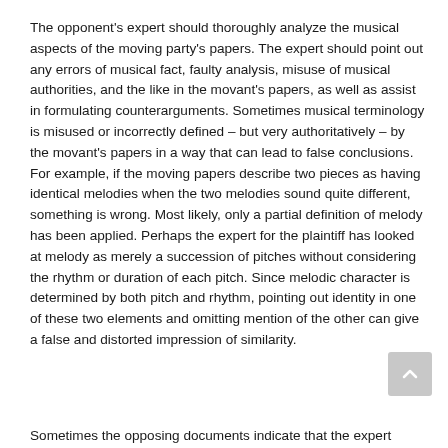The opponent's expert should thoroughly analyze the musical aspects of the moving party's papers. The expert should point out any errors of musical fact, faulty analysis, misuse of musical authorities, and the like in the movant's papers, as well as assist in formulating counterarguments. Sometimes musical terminology is misused or incorrectly defined – but very authoritatively – by the movant's papers in a way that can lead to false conclusions. For example, if the moving papers describe two pieces as having identical melodies when the two melodies sound quite different, something is wrong. Most likely, only a partial definition of melody has been applied. Perhaps the expert for the plaintiff has looked at melody as merely a succession of pitches without considering the rhythm or duration of each pitch. Since melodic character is determined by both pitch and rhythm, pointing out identity in one of these two elements and omitting mention of the other can give a false and distorted impression of similarity.
Sometimes the opposing documents indicate that the expert